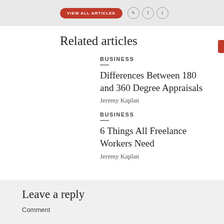[Figure (other): Top banner with red VIEW ALL ARTICLES button and social media icons on grey background]
Related articles
BUSINESS
Differences Between 180 and 360 Degree Appraisals
Jeremy Kaplan
BUSINESS
6 Things All Freelance Workers Need
Jeremy Kaplan
Leave a reply
Comment